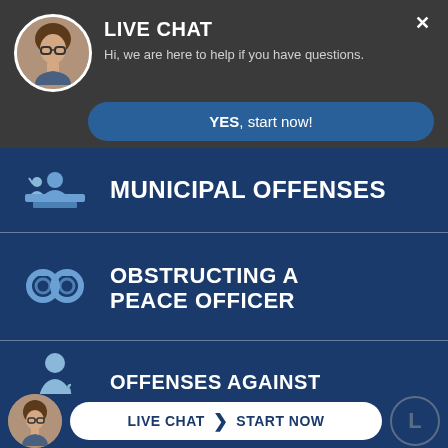[Figure (screenshot): Live chat overlay popup with avatar of a woman with glasses, title LIVE CHAT, subtitle text, and a YES start now button]
MUNICIPAL OFFENSES
OBSTRUCTING A PEACE OFFICER
OFFENSES AGAINST PREGNANT WOMEN
[Figure (screenshot): Bottom live chat bar with avatar, LIVE CHAT and START NOW button]